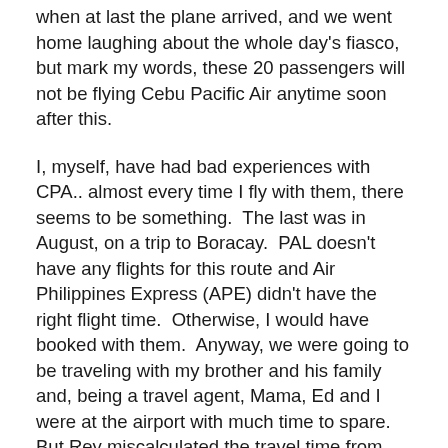when at last the plane arrived, and we went home laughing about the whole day's fiasco, but mark my words, these 20 passengers will not be flying Cebu Pacific Air anytime soon after this.
I, myself, have had bad experiences with CPA.. almost every time I fly with them, there seems to be something.  The last was in August, on a trip to Boracay.  PAL doesn't have any flights for this route and Air Philippines Express (APE) didn't have the right flight time.  Otherwise, I would have booked with them.  Anyway, we were going to be traveling with my brother and his family and, being a travel agent, Mama, Ed and I were at the airport with much time to spare.  But Rey miscalculated the travel time from Alabang to NAIA3 and made the check-in counter by just the skin of their teeth.  It was me who negotiated with the CPA staff to keep the counter open until they arrived but